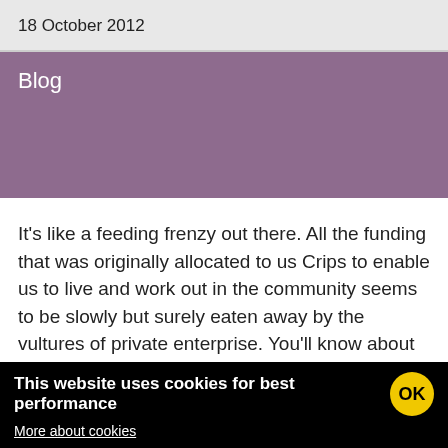18 October 2012
Blog
It's like a feeding frenzy out there. All the funding that was originally allocated to us Crips to enable us to live and work out in the community seems to be slowly but surely eaten away by the vultures of private enterprise. You'll know about the biggest vulture, I take it? The French company ATOS who've had the contract to get as many disabled people off Benefit as they can. As an added incentive, the ConDems also gave ATOS a bonus for every Benefit payment that they stop. And...
This website uses cookies for best performance OK More about cookies